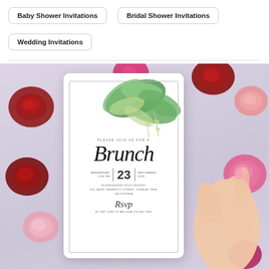Baby Shower Invitations
Bridal Shower Invitations
Wedding Invitations
[Figure (photo): A bridal/event brunch invitation card featuring watercolor green foliage at the top, script text reading 'Brunch', date Wednesday September 23, 2020 at 4:00 PM, venue Glendessing Golf Resort 345 Saint Benedict Street Joshua Tree California, RSVP section, held by a hand, surrounded by colorful roses and flowers on a light purple-grey background.]